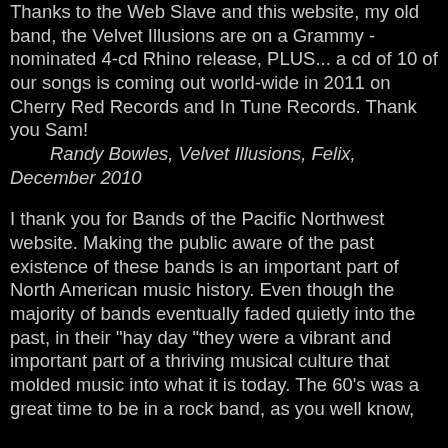Thanks to the Web Slave and this website, my old band, the Velvet Illusions are on a Grammy - nominated 4-cd Rhino release, PLUS... a cd of 10 of our songs is coming out world-wide in 2011 on Cherry Red Records and In Tune Records. Thank you Sam!
Randy Bowles, Velvet Illusions, Felix, December 2010
I thank you for Bands of the Pacific Northwest website. Making the public aware of the past existence of these bands is an important part of North American music history. Even though the majority of bands eventually faded quietly into the past, in their "hay day "they were a vibrant and important part of a thriving musical culture that molded music into what it is today. The 60's was a great time to be in a rock band, as you well know,